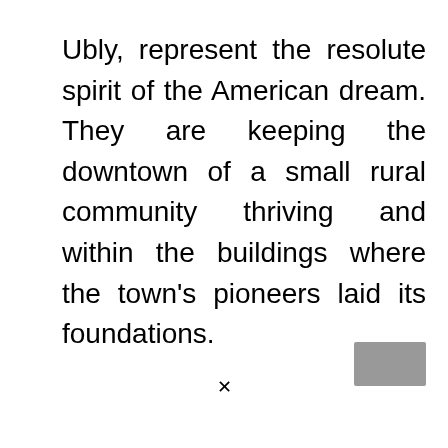Ubly, represent the resolute spirit of the American dream. They are keeping the downtown of a small rural community thriving and within the buildings where the town's pioneers laid its foundations.